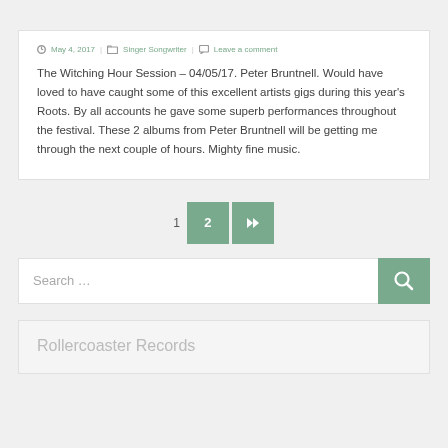May 4, 2017 | Singer Songwriter | Leave a comment
The Witching Hour Session – 04/05/17. Peter Bruntnell. Would have loved to have caught some of this excellent artists gigs during this year's Roots. By all accounts he gave some superb performances throughout the festival. These 2 albums from Peter Bruntnell will be getting me through the next couple of hours. Mighty fine music.
1  2  »
Search ...
Rollercoaster Records